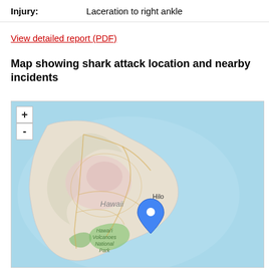Injury: Laceration to right ankle
View detailed report (PDF)
Map showing shark attack location and nearby incidents
[Figure (map): Map of Hawaii (Big Island) showing shark attack location marked with a blue pin near the southeastern coast, east of Hawai'i Volcanoes National Park, south of Hilo. Map includes zoom controls (+/-) and labels for Hilo, Hawaii, and Hawai'i Volcanoes National Park.]